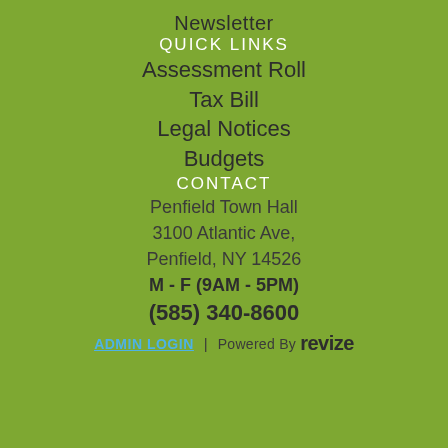Newsletter
QUICK LINKS
Assessment Roll
Tax Bill
Legal Notices
Budgets
CONTACT
Penfield Town Hall
3100 Atlantic Ave,
Penfield, NY 14526
M - F (9AM - 5PM)
(585) 340-8600
ADMIN LOGIN | Powered By revize